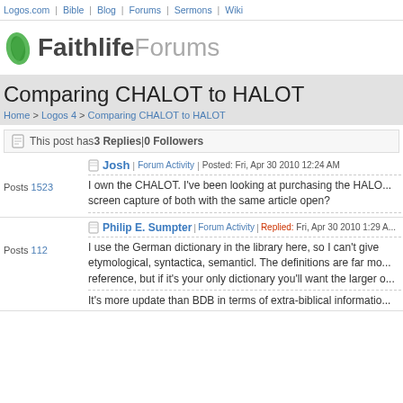Logos.com | Bible | Blog | Forums | Sermons | Wiki
[Figure (logo): Faithlife Forums logo with green leaf icon]
Comparing CHALOT to HALOT
Home > Logos 4 > Comparing CHALOT to HALOT
This post has 3 Replies | 0 Followers
Josh | Forum Activity | Posted: Fri, Apr 30 2010 12:24 AM
I own the CHALOT. I've been looking at purchasing the HALO... screen capture of both with the same article open?
Posts 1523
Philip E. Sumpter | Forum Activity | Replied: Fri, Apr 30 2010 1:29 A...
I use the German dictionary in the library here, so I can't give etymological, syntactica, semanticl. The definitions are far mo... reference, but if it's your only dictionary you'll want the larger o...
Posts 112
It's more update than BDB in terms of extra-biblical informatio...